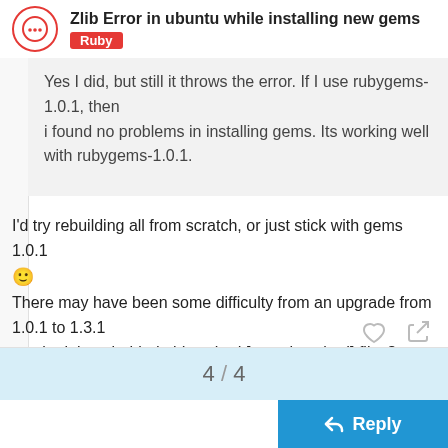Zlib Error in ubuntu while installing new gems
Ruby
Yes I did, but still it throws the error. If I use rubygems-1.0.1, then
i found no problems in installing gems. Its working well with rubygems-1.0.1.
I'd try rebuilding all from scratch, or just stick with gems 1.0.1 🙂
There may have been some difficulty from an upgrade from 1.0.1 to 1.3.1
maybe it kept behind old cached [somehow bad] files?
-=r
4 / 4
Reply